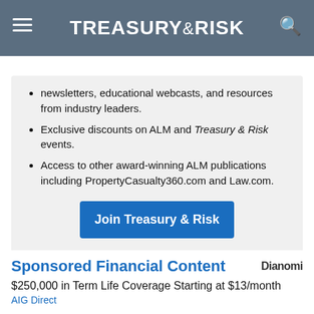TREASURY&RISK
newsletters, educational webcasts, and resources from industry leaders.
Exclusive discounts on ALM and Treasury & Risk events.
Access to other award-winning ALM publications including PropertyCasualty360.com and Law.com.
Join Treasury & Risk
Already have an account? Sign In Now
Sponsored Financial Content
$250,000 in Term Life Coverage Starting at $13/month
AIG Direct